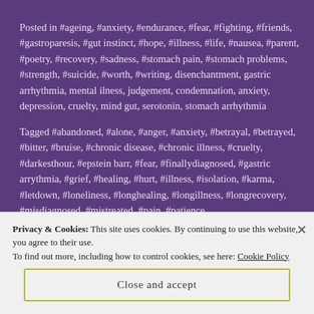Posted in #ageing, #anxiety, #endurance, #fear, #fighting, #friends, #gastroparesis, #gut instinct, #hope, #illness, #life, #nausea, #parent, #poetry, #recovery, #sadness, #stomach pain, #stomach problems, #strength, #suicide, #worth, #writing, disenchantment, gastric arrhythmia, mental ilness, judgement, condemnation, anxiety, depression, cruelty, mind gut, serotonin, stomach arrhythmia
Tagged #abandoned, #alone, #anger, #anxiety, #betrayal, #betrayed, #bitter, #bruise, #chronic disease, #chronic illness, #cruelty, #darkesthour, #epstein barr, #fear, #finallydiagnosed, #gastric arrythmia, #grief, #healing, #hurt, #illness, #isolation, #karma, #letdown, #loneliness, #longhealing, #longillness, #longrecovery, #misdiagnosed, #mistreated, #pain, #patience,
Privacy & Cookies: This site uses cookies. By continuing to use this website, you agree to their use.
To find out more, including how to control cookies, see here: Cookie Policy
Close and accept